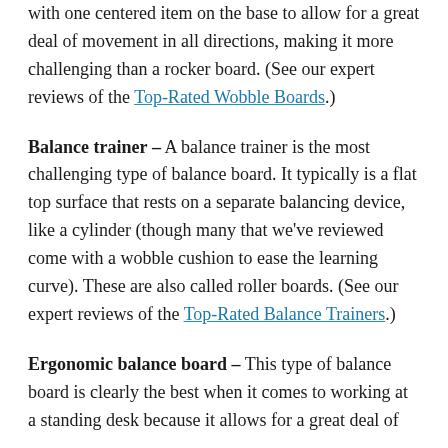with one centered item on the base to allow for a great deal of movement in all directions, making it more challenging than a rocker board. (See our expert reviews of the Top-Rated Wobble Boards.)
Balance trainer – A balance trainer is the most challenging type of balance board. It typically is a flat top surface that rests on a separate balancing device, like a cylinder (though many that we've reviewed come with a wobble cushion to ease the learning curve). These are also called roller boards. (See our expert reviews of the Top-Rated Balance Trainers.)
Ergonomic balance board – This type of balance board is clearly the best when it comes to working at a standing desk because it allows for a great deal of